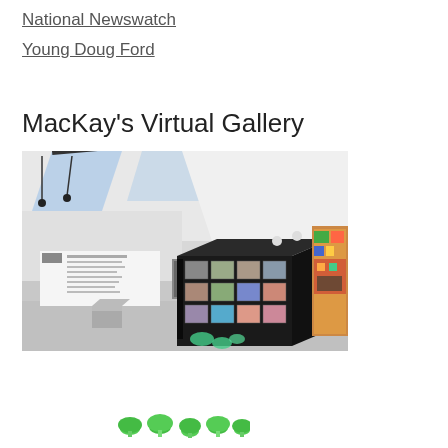National Newswatch
Young Doug Ford
MacKay's Virtual Gallery
[Figure (photo): Interior view of a virtual art gallery with a black cube display structure in the center showing multiple artworks arranged in a grid. White walls, skylight ceiling, and colorful artwork visible on the right wall.]
[Figure (illustration): Green decorative dot/mushroom shapes at the bottom of the page]